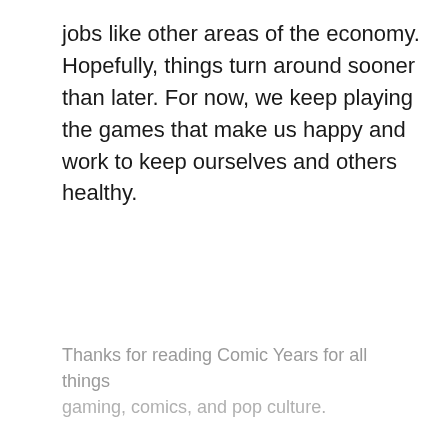jobs like other areas of the economy. Hopefully, things turn around sooner than later. For now, we keep playing the games that make us happy and work to keep ourselves and others healthy.
Thanks for reading Comic Years for all things gaming, comics, and pop culture.